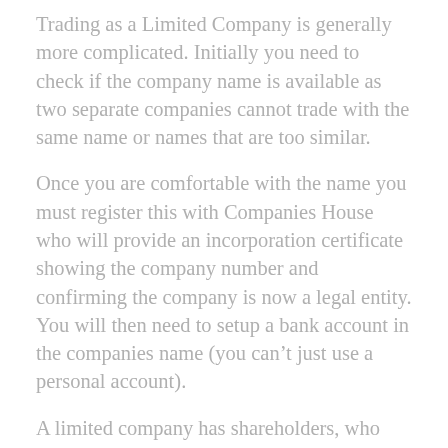Trading as a Limited Company is generally more complicated. Initially you need to check if the company name is available as two separate companies cannot trade with the same name or names that are too similar.
Once you are comfortable with the name you must register this with Companies House who will provide an incorporation certificate showing the company number and confirming the company is now a legal entity. You will then need to setup a bank account in the companies name (you can’t just use a personal account).
A limited company has shareholders, who own the company, and the shareholders appoint directors to run the company on their behalf.
When it comes to freelancers / contractors the two positions are usually held by the same people but it’s important to understand the differences. Dividends are paid to shareholders, and salaries are paid to the